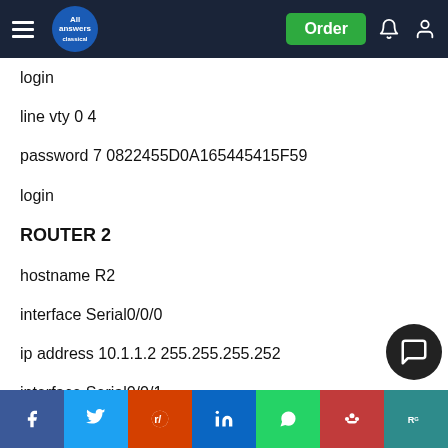All Answers — navigation bar with Order button
login
line vty 0 4
password 7 0822455D0A165445415F59
login
ROUTER 2
hostname R2
interface Serial0/0/0
ip address 10.1.1.2 255.255.255.252
interface Serial0/0/1
ip address (partially obscured by social bar)
Social share bar: Facebook, Twitter, Reddit, LinkedIn, WhatsApp, Mendeley, ResearchGate